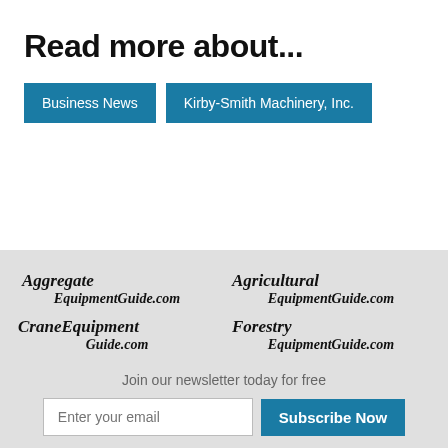Read more about...
Business News
Kirby-Smith Machinery, Inc.
[Figure (logo): Aggregate EquipmentGuide.com logo in bold italic serif font]
[Figure (logo): Agricultural EquipmentGuide.com logo in bold italic serif font]
[Figure (logo): CraneEquipment Guide.com logo in bold italic serif font]
[Figure (logo): Forestry EquipmentGuide.com logo in bold italic serif font]
Join our newsletter today for free